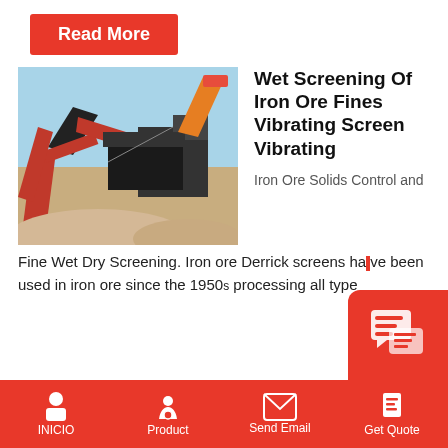[Figure (other): Red 'Read More' button]
[Figure (photo): Mining/screening equipment with conveyor belts and machinery outdoors, with sand/ore piles in foreground]
Wet Screening Of Iron Ore Fines Vibrating Screen Vibrating
Iron Ore Solids Control and
Fine Wet Dry Screening. Iron ore Derrick screens have been used in iron ore since the 1950s processing all type
INICIO | Product | Send Email | Get Quote